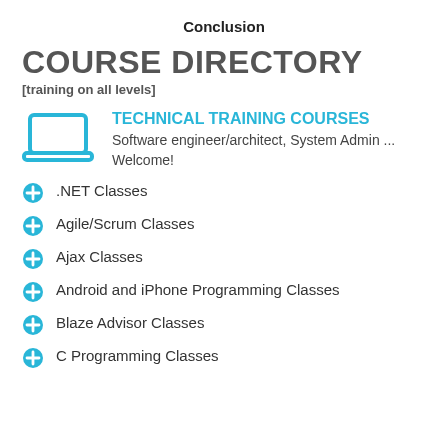Conclusion
COURSE DIRECTORY
[training on all levels]
[Figure (illustration): Laptop icon in cyan/blue color]
TECHNICAL TRAINING COURSES
Software engineer/architect, System Admin ... Welcome!
.NET Classes
Agile/Scrum Classes
Ajax Classes
Android and iPhone Programming Classes
Blaze Advisor Classes
C Programming Classes